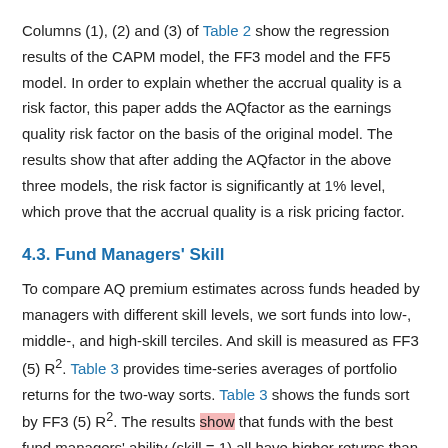Columns (1), (2) and (3) of Table 2 show the regression results of the CAPM model, the FF3 model and the FF5 model. In order to explain whether the accrual quality is a risk factor, this paper adds the AQfactor as the earnings quality risk factor on the basis of the original model. The results show that after adding the AQfactor in the above three models, the risk factor is significantly at 1% level, which prove that the accrual quality is a risk pricing factor.
4.3. Fund Managers' Skill
To compare AQ premium estimates across funds headed by managers with different skill levels, we sort funds into low-, middle-, and high-skill terciles. And skill is measured as FF3 (5) R². Table 3 provides time-series averages of portfolio returns for the two-way sorts. Table 3 shows the funds sort by FF3 (5) R². The results show that funds with the best fund managers' ability (skill = 1) all have higher returns than low skill funds. FF3 (5) is excess return